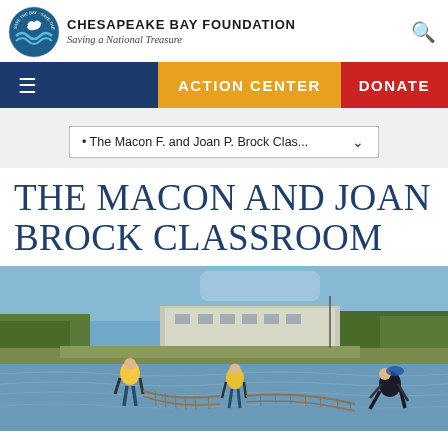[Figure (logo): Chesapeake Bay Foundation circular logo with bird and wave motif, plus organization name and tagline: CHESAPEAKE BAY FOUNDATION / Saving a National Treasure]
CHESAPEAKE BAY FOUNDATION
Saving a National Treasure
ACTION CENTER   DONATE
• The Macon F. and Joan P. Brock Clas...
THE MACON AND JOAN BROCK CLASSROOM
[Figure (photo): Three students wading in shallow water pulling a large fishing net, with a building and trees visible in the background under a blue sky. Environmental education activity at Chesapeake Bay.]